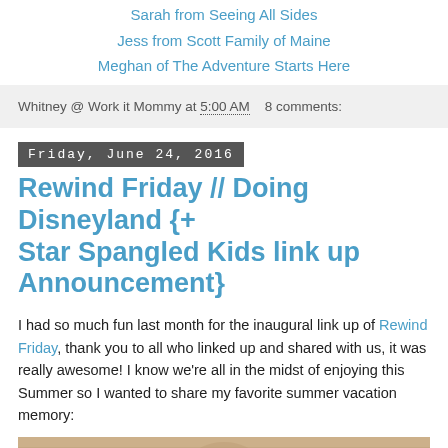Sarah from Seeing All Sides
Jess from Scott Family of Maine
Meghan of The Adventure Starts Here
Whitney @ Work it Mommy at 5:00 AM    8 comments:
Friday, June 24, 2016
Rewind Friday // Doing Disneyland {+ Star Spangled Kids link up Announcement}
I had so much fun last month for the inaugural link up of Rewind Friday, thank you to all who linked up and shared with us, it was really awesome! I know we're all in the midst of enjoying this Summer so I wanted to share my favorite summer vacation memory:
[Figure (photo): Partial view of a photo at the bottom of the page, appears to be a Disneyland or theme park related image]